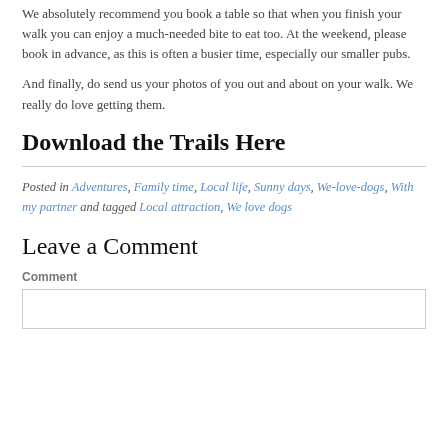We absolutely recommend you book a table so that when you finish your walk you can enjoy a much-needed bite to eat too. At the weekend, please book in advance, as this is often a busier time, especially our smaller pubs.
And finally, do send us your photos of you out and about on your walk. We really do love getting them.
Download the Trails Here
Posted in Adventures, Family time, Local life, Sunny days, We-love-dogs, With my partner and tagged Local attraction, We love dogs
Leave a Comment
Comment